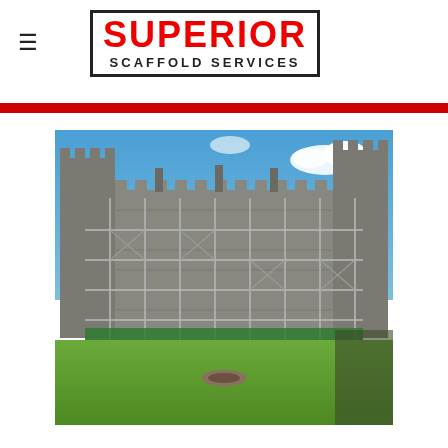[Figure (logo): Superior Scaffold Services logo — red bold SUPERIOR text in a black-bordered box, with SCAFFOLD SERVICES in black below]
[Figure (photo): Photograph of a large stone castle building fully covered in metal scaffolding on its facade, with green grass lawn in the foreground and blue sky with clouds behind the castle towers]